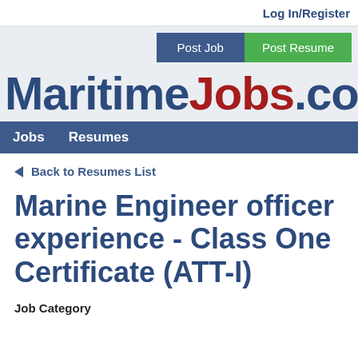Log In/Register
[Figure (screenshot): Navigation buttons: Post Job (blue) and Post Resume (green)]
MaritimeJobs.com
Jobs   Resumes
◄ Back to Resumes List
Marine Engineer officer experience - Class One Certificate (ATT-I)
Job Category